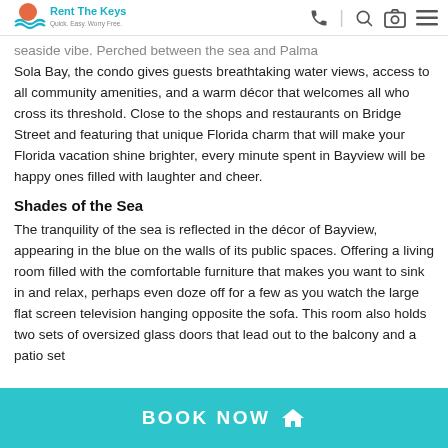Rent The Keys
seaside vibe. Perched between the sea and Palma Sola Bay, the condo gives guests breathtaking water views, access to all community amenities, and a warm décor that welcomes all who cross its threshold. Close to the shops and restaurants on Bridge Street and featuring that unique Florida charm that will make your Florida vacation shine brighter, every minute spent in Bayview will be happy ones filled with laughter and cheer.
Shades of the Sea
The tranquility of the sea is reflected in the décor of Bayview, appearing in the blue on the walls of its public spaces. Offering a living room filled with the comfortable furniture that makes you want to sink in and relax, perhaps even doze off for a few as you watch the large flat screen television hanging opposite the sofa. This room also holds two sets of oversized glass doors that lead out to the balcony and a patio set
BOOK NOW